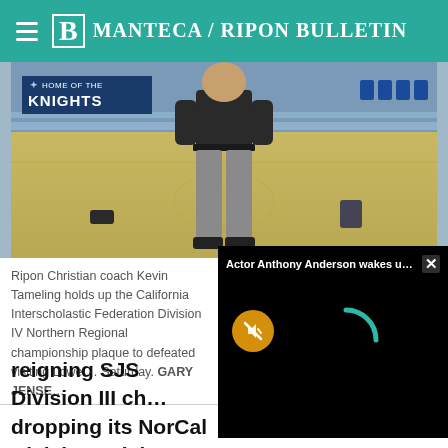Manteca / Ripon Bulletin
[Figure (photo): Ripon Christian coach Kevin Tameling standing on a basketball gym floor with Knights banner visible in background]
Ripon Christian coach Kevin Tameling holds up the California Interscholastic Federation Division IV Northern Regional championship plaque to … defeated visiting Lowel… Saturday. GARY JENSE…
reigning SJS Division III ch… dropping its NorCal Divisio… Bishop O'Dowd.
[Figure (screenshot): Video overlay popup showing 'Actor Anthony Anthony Anderson wakes up with...' with mute button and loading spinner on black background]